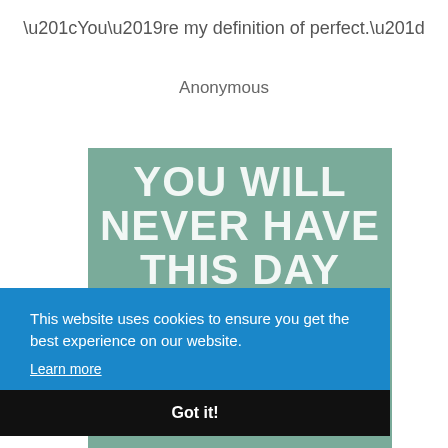“You’re my definition of perfect.”
Anonymous
[Figure (illustration): Motivational poster with teal/sage green textured background and large white bold text reading: YOU WILL NEVER HAVE THIS DAY AGAIN (with partial text 'count' visible at bottom)]
This website uses cookies to ensure you get the best experience on our website.
Learn more
Got it!